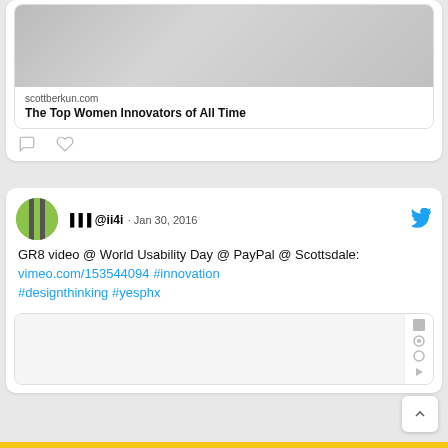[Figure (screenshot): Link preview image for scottberkun.com article about women innovators]
scottberkun.com
The Top Women Innovators of All Time
[Figure (screenshot): Comment and like action icons]
▐▐▐ @ii4i · Jan 30, 2016
GR8 video @ World Usability Day @ PayPal @ Scottsdale: vimeo.com/153544094 #innovation #designthinking #yesphx
[Figure (screenshot): Video preview thumbnail with sidebar icons]